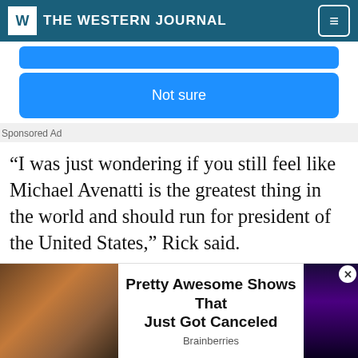THE WESTERN JOURNAL
[Figure (screenshot): Blue 'Not sure' button on a poll interface]
Sponsored Ad
“I was just wondering if you still feel like Michael Avenatti is the greatest thing in the world and should run for president of the United States,” Rick said.
“My suggestion is, whatever CNN says, do the
[Figure (screenshot): Advertisement overlay: Pretty Awesome Shows That Just Got Canceled - Brainberries, with two celebrity photos on sides]